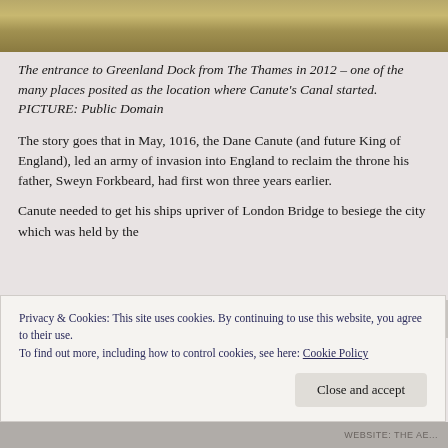[Figure (photo): Top portion of a photo showing Greenland Dock entrance from the Thames - golden/brown water surface texture]
The entrance to Greenland Dock from The Thames in 2012 – one of the many places posited as the location where Canute's Canal started. PICTURE: Public Domain
The story goes that in May, 1016, the Dane Canute (and future King of England), led an army of invasion into England to reclaim the throne his father, Sweyn Forkbeard, had first won three years earlier.
Canute needed to get his ships upriver of London Bridge to besiege the city which was held by the
Privacy & Cookies: This site uses cookies. By continuing to use this website, you agree to their use.
To find out more, including how to control cookies, see here: Cookie Policy
Close and accept